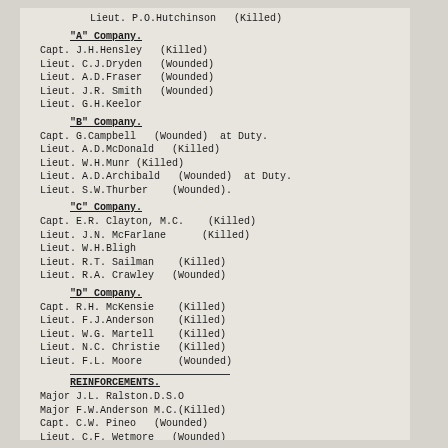Lieut. P.O.Hutchinson  (Killed)
"A" Company.
Capt. J.H.Hensley  (Killed)
Lieut. C.J.Dryden  (Wounded)
Lieut. A.D.Fraser  (Wounded)
Lieut. J.R. Smith  (Wounded)
Lieut. G.H.Keelor
"B" Company.
Capt. G.Campbell  (Wounded)  at Duty.
Lieut. A.D.McDonald  (Killed)
Lieut. W.H.Munr  (Killed)
Lieut. A.D.Archibald  (Wounded)  at Duty.
Lieut. S.W.Thurber   (Wounded).
"C" Company.
Capt. E.R. Clayton, M.C.   (Killed)
Lieut. J.N. McFarlane     (Killed)
Lieut. W.H.Bligh
Lieut. R.T. Sailman   (Killed)
Lieut. R.A. Crawley  (Wounded)
"D" Company.
Capt. R.H. McKensie   (Killed)
Lieut. F.J.Anderson   (Killed)
Lieut. W.G. Martell   (Killed)
Lieut. N.C. Christie  (Killed)
Lieut. F.L. Moore     (Wounded)
REINFORCEMENTS.
Major J.L. Ralston.D.S.O
Major F.W.Anderson M.C.(Killed)
Capt. C.W. Pineo  (Wounded)
Lieut. C.F. Wetmore  (Wounded)
Lieut. W.D. Cook  (Wounded)  at Duty.
"    E.J.Hallett.
"    S.  Murray.